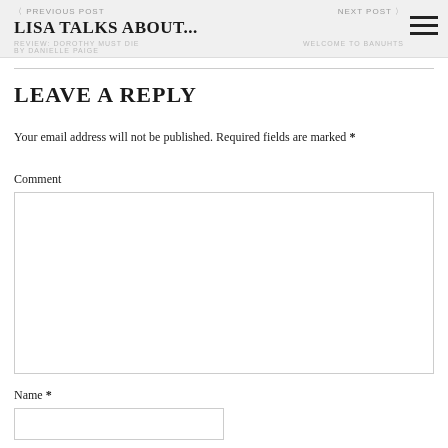PREVIOUS POST | LISA TALKS ABOUT... | REVIEW: DOROTHY MUST DIE BY DANIELLE PAIGE | NEXT POST | WELCOME TO BANUHTS
LEAVE A REPLY
Your email address will not be published. Required fields are marked *
Comment
Name *